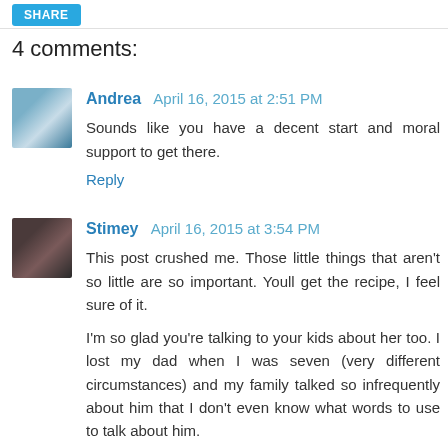[Figure (other): Share button (cyan/blue)]
4 comments:
[Figure (photo): Avatar photo of Andrea]
Andrea April 16, 2015 at 2:51 PM
Sounds like you have a decent start and moral support to get there.
Reply
[Figure (photo): Avatar photo of Stimey]
Stimey April 16, 2015 at 3:54 PM
This post crushed me. Those little things that aren't so little are so important. Youll get the recipe, I feel sure of it.

I'm so glad you're talking to your kids about her too. I lost my dad when I was seven (very different circumstances) and my family talked so infrequently about him that I don't even know what words to use to talk about him.
Reply